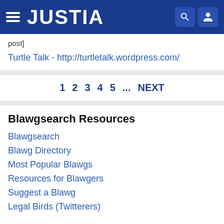JUSTIA
post]
Turtle Talk - http://turtletalk.wordpress.com/
1 2 3 4 5 ... NEXT
Blawgsearch Resources
Blawgsearch
Blawg Directory
Most Popular Blawgs
Resources for Blawgers
Suggest a Blawg
Legal Birds (Twitterers)